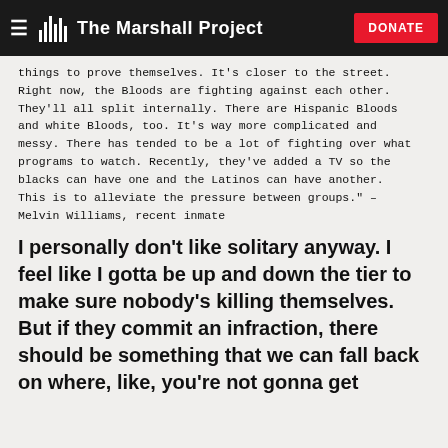The Marshall Project
things to prove themselves. It's closer to the street. Right now, the Bloods are fighting against each other. They'll all split internally. There are Hispanic Bloods and white Bloods, too. It's way more complicated and messy. There has tended to be a lot of fighting over what programs to watch. Recently, they've added a TV so the blacks can have one and the Latinos can have another. This is to alleviate the pressure between groups." – Melvin Williams, recent inmate
I personally don't like solitary anyway. I feel like I gotta be up and down the tier to make sure nobody's killing themselves. But if they commit an infraction, there should be something that we can fall back on where, like, you're not gonna get